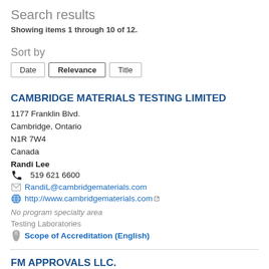Search results
Showing items 1 through 10 of 12.
Sort by
Date  Relevance  Title
CAMBRIDGE MATERIALS TESTING LIMITED
1177 Franklin Blvd.
Cambridge, Ontario
N1R 7W4
Canada
Randi Lee
519 621 6600
RandiL@cambridgematerials.com
http://www.cambridgematerials.com
No program specialty area
Testing Laboratories
Scope of Accreditation (English)
FM APPROVALS LLC.
1151 Boston-Providence Turnpike
Norwood, Massachusetts